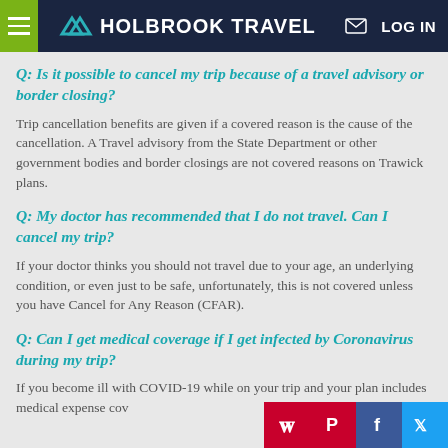HOLBROOK TRAVEL
Q: Is it possible to cancel my trip because of a travel advisory or border closing?
Trip cancellation benefits are given if a covered reason is the cause of the cancellation. A Travel advisory from the State Department or other government bodies and border closings are not covered reasons on Trawick plans.
Q: My doctor has recommended that I do not travel. Can I cancel my trip?
If your doctor thinks you should not travel due to your age, an underlying condition, or even just to be safe, unfortunately, this is not covered unless you have Cancel for Any Reason (CFAR).
Q: Can I get medical coverage if I get infected by Coronavirus during my trip?
If you become ill with COVID-19 while on your trip and your plan includes medical expense cov... and your plan includes medical expense for Medical E...